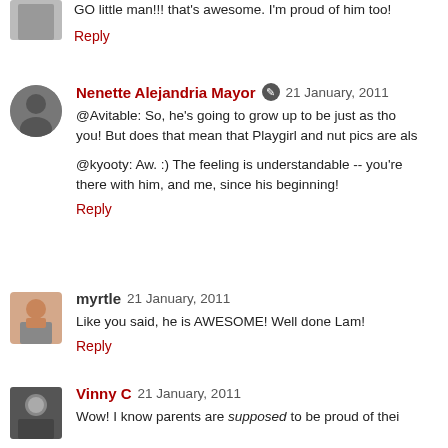GO little man!!! that's awesome. I'm proud of him too!
Reply
Nenette Alejandria Mayor  21 January, 2011
@Avitable: So, he's going to grow up to be just as tho you! But does that mean that Playgirl and nut pics are als
@kyooty: Aw. :) The feeling is understandable -- you're there with him, and me, since his beginning!
Reply
myrtle 21 January, 2011
Like you said, he is AWESOME! Well done Lam!
Reply
Vinny C 21 January, 2011
Wow! I know parents are supposed to be proud of thei